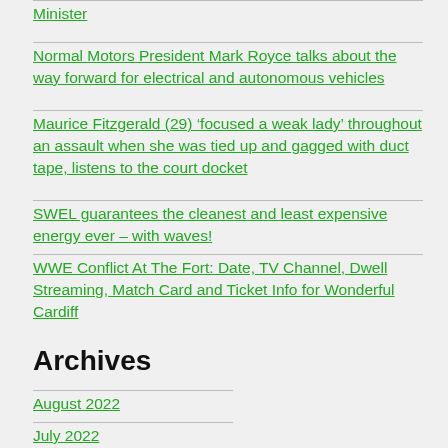Minister
Normal Motors President Mark Royce talks about the way forward for electrical and autonomous vehicles
Maurice Fitzgerald (29) ‘focused a weak lady’ throughout an assault when she was tied up and gagged with duct tape, listens to the court docket
SWEL guarantees the cleanest and least expensive energy ever – with waves!
WWE Conflict At The Fort: Date, TV Channel, Dwell Streaming, Match Card and Ticket Info for Wonderful Cardiff
Archives
August 2022
July 2022